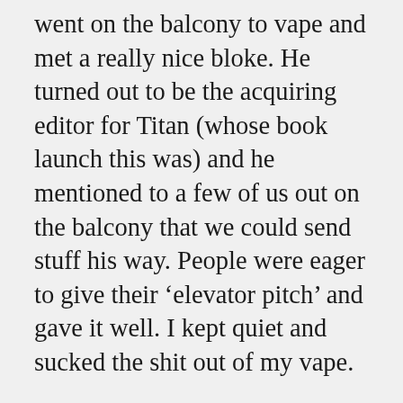went on the balcony to vape and met a really nice bloke. He turned out to be the acquiring editor for Titan (whose book launch this was) and he mentioned to a few of us out on the balcony that we could send stuff his way. People were eager to give their ‘elevator pitch’ and gave it well. I kept quiet and sucked the shit out of my vape.
Quiet, because I had something but was too, well, scared to speak about it, let alone submit it to any publisher. Weeks passed and Pennyblade gnawed at me